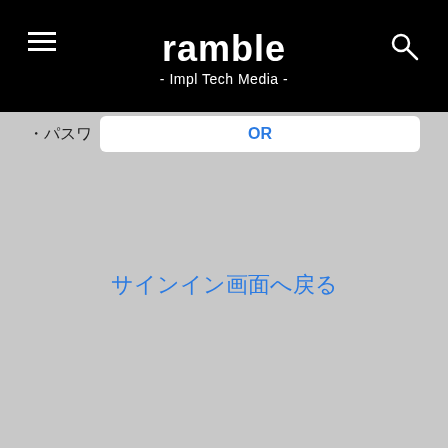ramble - Impl Tech Media -
・パスワ　OR
サインイン画面へ戻る